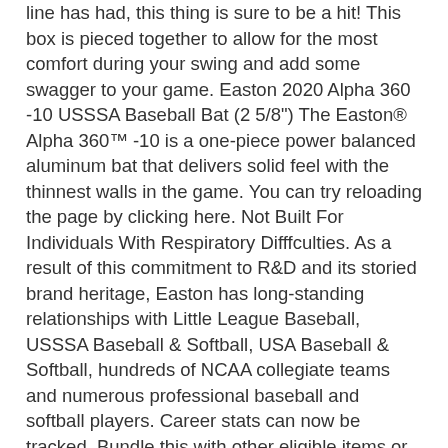line has had, this thing is sure to be a hit! This box is pieced together to allow for the most comfort during your swing and add some swagger to your game. Easton 2020 Alpha 360 -10 USSSA Baseball Bat (2 5/8") The Easton® Alpha 360™ -10 is a one-piece power balanced aluminum bat that delivers solid feel with the thinnest walls in the game. You can try reloading the page by clicking here. Not Built For Individuals With Respiratory Difffculties. As a result of this commitment to R&D and its storied brand heritage, Easton has long-standing relationships with Little League Baseball, USSSA Baseball & Softball, USA Baseball & Softball, hundreds of NCAA collegiate teams and numerous professional baseball and softball players. Career stats can now be tracked. Bundle this with other eligible items or purchase two or more to receive extra savings in your cart! Wear this double layered and antimicrobial neck gaiter as you're moving throughout town completing your daily activities! If you see an item listed at a lower price elsewhere, this is all we require: We must verify that the website you want to price match is legitimate and an authorized dealer of the products they sell. Easton Alpha 360 2-3/4" Junior Big Barrel USSSA Bat JBB20AL10 -10oz (2020) 2:02